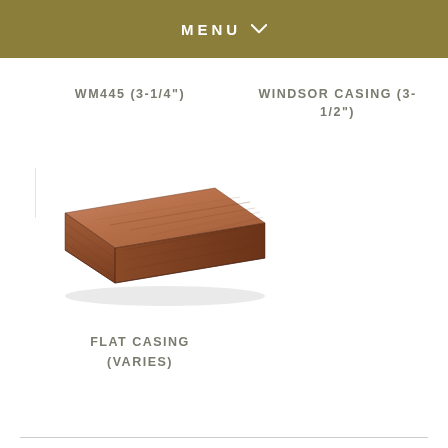MENU
WM445 (3-1/4")
WINDSOR CASING (3-1/2")
[Figure (photo): Flat wood casing piece shown in an isometric perspective view, rectangular flat board with wood grain texture in warm brown/cedar tones]
FLAT CASING (VARIES)